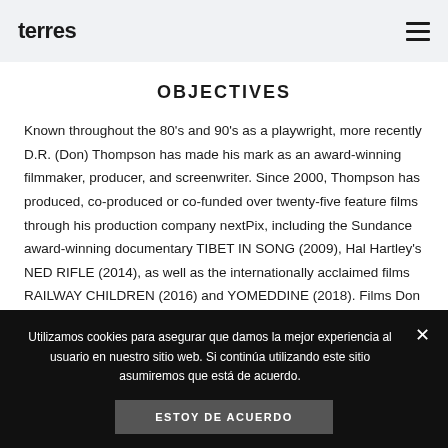terres
OBJECTIVES
Known throughout the 80's and 90's as a playwright, more recently D.R. (Don) Thompson has made his mark as an award-winning filmmaker, producer, and screenwriter. Since 2000, Thompson has produced, co-produced or co-funded over twenty-five feature films through his production company nextPix, including the Sundance award-winning documentary TIBET IN SONG (2009), Hal Hartley's NED RIFLE (2014), as well as the internationally acclaimed films RAILWAY CHILDREN (2016) and YOMEDDINE (2018). Films Don has
Utilizamos cookies para asegurar que damos la mejor experiencia al usuario en nuestro sitio web. Si continúa utilizando este sitio asumiremos que está de acuerdo.
ESTOY DE ACUERDO